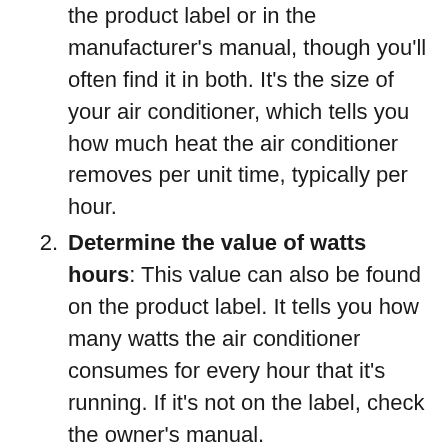the product label or in the manufacturer's manual, though you'll often find it in both. It's the size of your air conditioner, which tells you how much heat the air conditioner removes per unit time, typically per hour.
Determine the value of watts hours: This value can also be found on the product label. It tells you how many watts the air conditioner consumes for every hour that it's running. If it's not on the label, check the owner's manual.
Determine the number of BTUs removed per month: Now that you